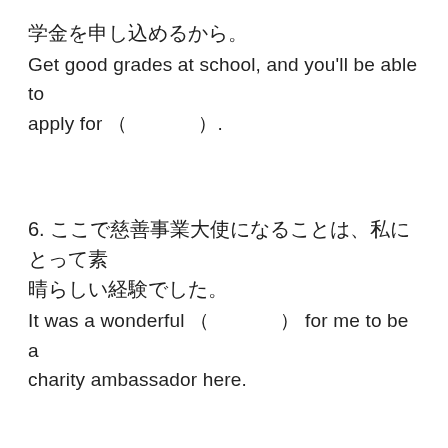学金を申し込めるから。
Get good grades at school, and you'll be able to apply for (　　　　　).
6. ここで慈善事業大使になることは、私にとって素晴らしい経験でした。
It was a wonderful (　　　　　) for me to be a charity ambassador here.
7. クロップ監督はリバプールと４年契約を結んだ。